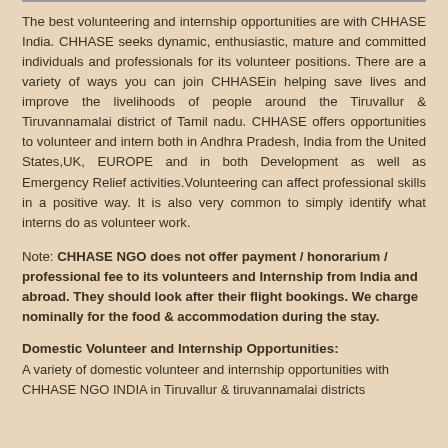The best volunteering and internship opportunities are with CHHASE India. CHHASE seeks dynamic, enthusiastic, mature and committed individuals and professionals for its volunteer positions. There are a variety of ways you can join CHHASEin helping save lives and improve the livelihoods of people around the Tiruvallur & Tiruvannamalai district of Tamil nadu. CHHASE offers opportunities to volunteer and intern both in Andhra Pradesh, India from the United States,UK, EUROPE and in both Development as well as Emergency Relief activities.Volunteering can affect professional skills in a positive way. It is also very common to simply identify what interns do as volunteer work.
Note: CHHASE NGO does not offer payment / honorarium / professional fee to its volunteers and Internship from India and abroad. They should look after their flight bookings. We charge nominally for the food & accommodation during the stay.
Domestic Volunteer and Internship Opportunities:
A variety of domestic volunteer and internship opportunities with CHHASE NGO INDIA in Tiruvallur & tiruvannamalai districts